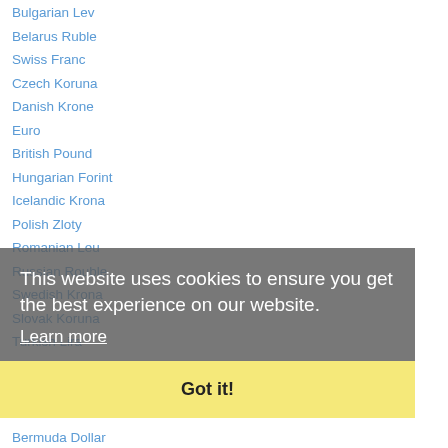Bulgarian Lev
Belarus Ruble
Swiss Franc
Czech Koruna
Danish Krone
Euro
British Pound
Hungarian Forint
Icelandic Krona
Polish Zloty
Romanian Leu
Russian Rouble
Swedish Krona
Slovak Koruna
Turkish Lira
NORTH/SOUTH AMERICA
Argentine Peso
Barbadian Dollar
Bermuda Dollar
Brazilian Real
Bahamian Dollar
Canadian Dollar
This website uses cookies to ensure you get the best experience on our website.
Learn more
Got it!